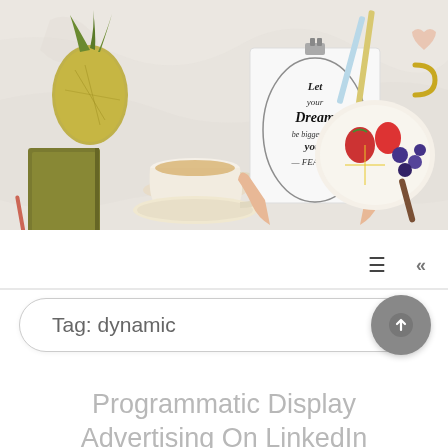[Figure (photo): Overhead flat-lay photo of a marble surface with: a motivational handwritten calligraphy sign reading 'Let your Dream be bigger than your Fears' held by two hands, a golden pineapple decoration, an olive green notebook, a cup of tea with saucer, a plate of fruits (strawberries, lemon slices, blueberries), pencils, and heart-shaped decorations.]
≡   «
Tag: dynamic
Programmatic Display Advertising On LinkedIn